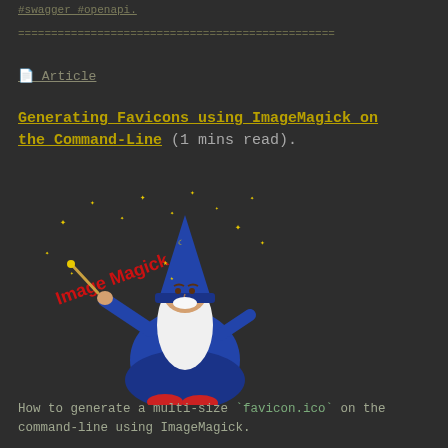#swagger #openapi.
================================================
📄 Article
Generating Favicons using ImageMagick on the Command-Line (1 mins read).
[Figure (illustration): ImageMagick wizard mascot — a cartoon wizard in a blue robe and star-covered hat holding a wand, with red 'Image Magick' text and yellow stars around him]
How to generate a multi-size `favicon.ico` on the command-line using ImageMagick.